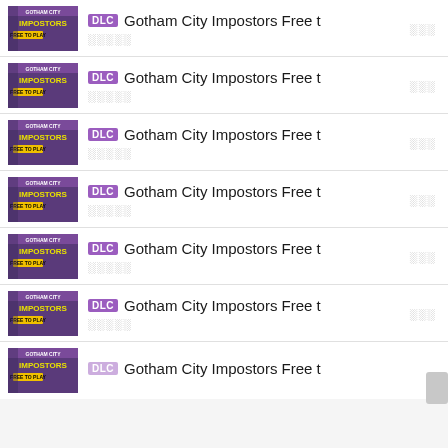DLC Gotham City Impostors Free t
DLC Gotham City Impostors Free t
DLC Gotham City Impostors Free t
DLC Gotham City Impostors Free t
DLC Gotham City Impostors Free t
DLC Gotham City Impostors Free t
Gotham City Impostors Free t (partial)